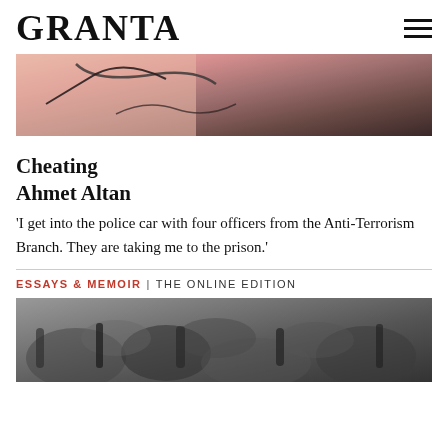GRANTA
[Figure (photo): Partial view of an abstract or artistic image with pink/rose and dark earthy tones, showing curved lines on a gradient background]
Cheating
Ahmet Altan
'I get into the police car with four officers from the Anti-Terrorism Branch. They are taking me to the prison.'
ESSAYS & MEMOIR | THE ONLINE EDITION
[Figure (photo): Black and white photograph of gnarled tree roots or rock formations with deep shadows and textured surfaces]